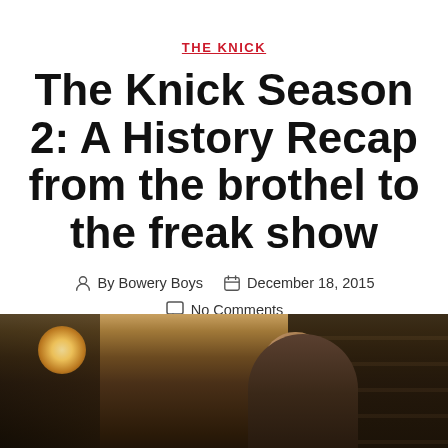THE KNICK
The Knick Season 2: A History Recap from the brothel to the freak show
By Bowery Boys  December 18, 2015
No Comments
[Figure (photo): A man in period dress (vest and white shirt) looking downward in a dimly lit bar or saloon interior with wooden shelves in the background and a warm light source on the left.]